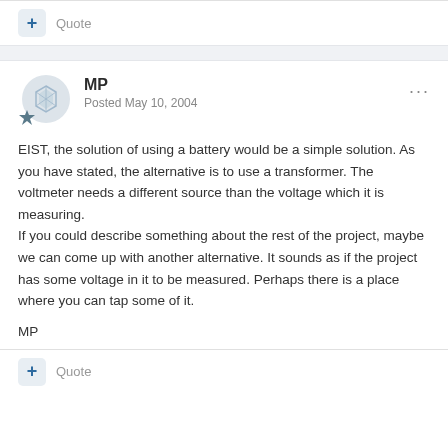+ Quote
MP
Posted May 10, 2004
EIST, the solution of using a battery would be a simple solution. As you have stated, the alternative is to use a transformer. The voltmeter needs a different source than the voltage which it is measuring.
If you could describe something about the rest of the project, maybe we can come up with another alternative. It sounds as if the project has some voltage in it to be measured. Perhaps there is a place where you can tap some of it.
MP
+ Quote